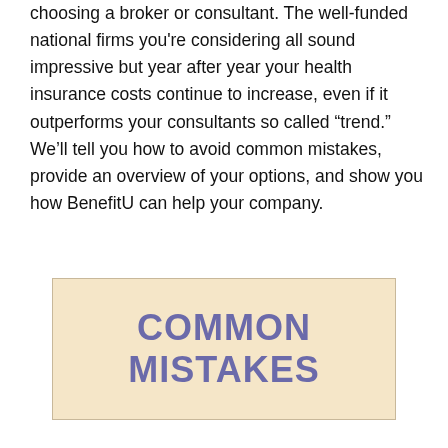choosing a broker or consultant. The well-funded national firms you're considering all sound impressive but year after year your health insurance costs continue to increase, even if it outperforms your consultants so called “trend.” We’ll tell you how to avoid common mistakes, provide an overview of your options, and show you how BenefitU can help your company.
COMMON MISTAKES